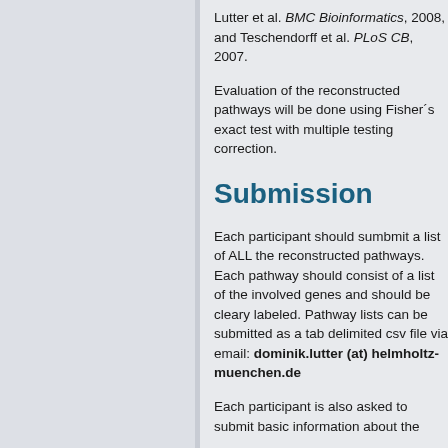Lutter et al. BMC Bioinformatics, 2008, and Teschendorff et al. PLoS CB, 2007.
Evaluation of the reconstructed pathways will be done using Fisher´s exact test with multiple testing correction.
Submission
Each participant should sumbmit a list of ALL the reconstructed pathways. Each pathway should consist of a list of the involved genes and should be cleary labeled. Pathway lists can be submitted as a tab delimited csv file via email: dominik.lutter (at) helmholtz-muenchen.de
Each participant is also asked to submit basic information about the